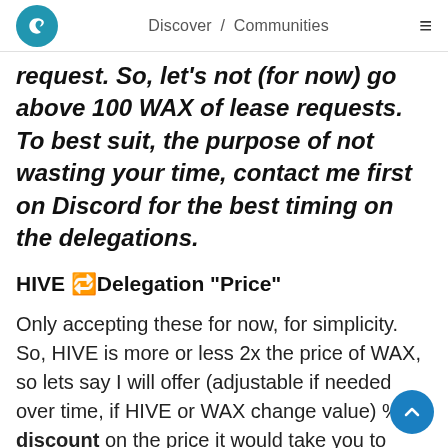Discover / Communities
request. So, let's not (for now) go above 100 WAX of lease requests. To best suit, the purpose of not wasting your time, contact me first on Discord for the best timing on the delegations.
HIVE 🔁Delegation "Price"
Only accepting these for now, for simplicity. So, HIVE is more or less 2x the price of WAX, so lets say I will offer (adjustable if needed over time, if HIVE or WAX change value) % discount on the price it would take you to